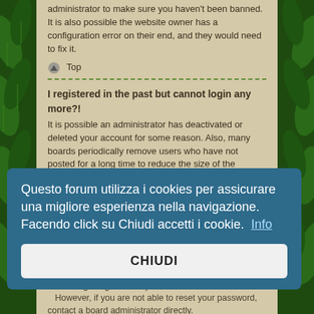administrator to make sure you haven't been banned. It is also possible the website owner has a configuration error on their end, and they would need to fix it.
Top
I registered in the past but cannot login any more?!
It is possible an administrator has deactivated or deleted your account for some reason. Also, many boards periodically remove users who have not posted for a long time to reduce the size of the database. If this has happened, try registering again and being more involved in discussions.
Top
I've lost my password!
Don't panic! While your password cannot be retrieved, it can easily be reset. Visit the login page and click Forgot my password. Follow the instructions and you should be able to log in again shortly. However, if you are not able to reset your password, contact a board administrator directly.
Top
Questo forum utilizza i cookies per assicurare una migliore esperienza nella navigazione. Facendo click su Chiudi accetti i cookie. Info
CHIUDI
Why do I get logged off automatically?
If you do not check the Remember me box when you login, the board